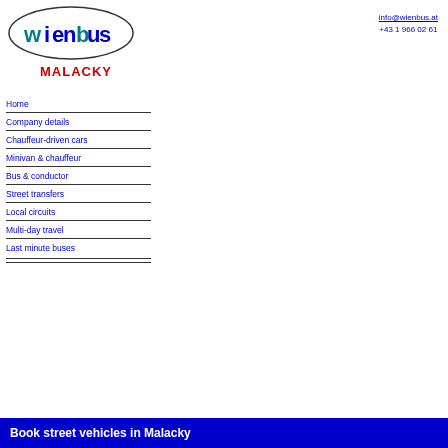[Figure (logo): WienBus logo - oval shape with WIENBUS text in blue and teal, and MALACKY in red below]
info@wienbus.at
+43 1 966 02 61
Home
Company details
Chauffeur-driven cars
Minivan & chauffeur
Bus & conductor
Street transfers
Local circuits
Multi-day travel
Last minute buses
Book street vehicles in Malacky